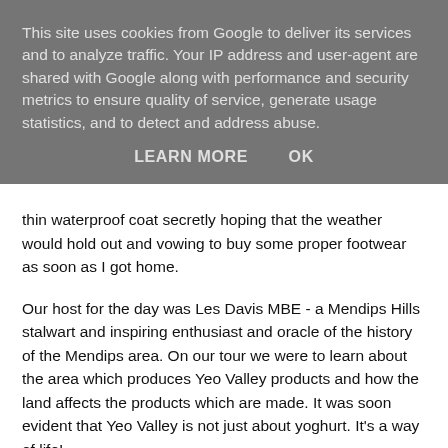This site uses cookies from Google to deliver its services and to analyze traffic. Your IP address and user-agent are shared with Google along with performance and security metrics to ensure quality of service, generate usage statistics, and to detect and address abuse.
LEARN MORE    OK
thin waterproof coat secretly hoping that the weather would hold out and vowing to buy some proper footwear as soon as I got home.
Our host for the day was Les Davis MBE - a Mendips Hills stalwart and inspiring enthusiast and oracle of the history of the Mendips area. On our tour we were to learn about the area which produces Yeo Valley products and how the land affects the products which are made. It was soon evident that Yeo Valley is not just about yoghurt. It's a way of life!
To start the day, we all bundled onto a bus to Wills Barn – the hub of Yeo Valley's "Yeoniversity" where Yeo Valley carry out their schools work. Yeo Valley are so passionate about